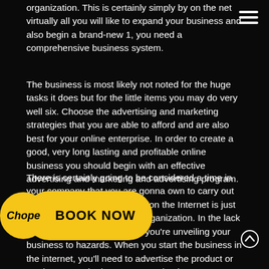organization. This is certainly simply by on the net virtually all you will like to expand your business and also begin a brand-new 1, you need a comprehensive business system.
The business is most likely not noted for the huge tasks it does but for the little items you may do very well six. Choose the advertising and marketing strategies that you are able to afford and are also best for your online enterprise. In order to create a good, very long lasting and profitable online business you should begin with an effective advertising and marketing and advertising program.
There is certainly going to be considered a time in your company that you are gonna own to carry out all this. Beginning a business on the Internet is just like starting any other small organization. In the lack of online marketing strategy, you're unveiling your business to hazards. When you start the business in the internet, you'll need to advertise the product or products over the internet. Many businesses are unsuccessful since the graphic is not really in ct or there isn't really any familiar brand at all. When you might have got a great on-line organization you is going to have to come up with the newest fads and SEO
[Figure (logo): Chope restaurant booking logo - yellow circular badge with italic Chope text, followed by a yellow pill-shaped BOOK NOW button]